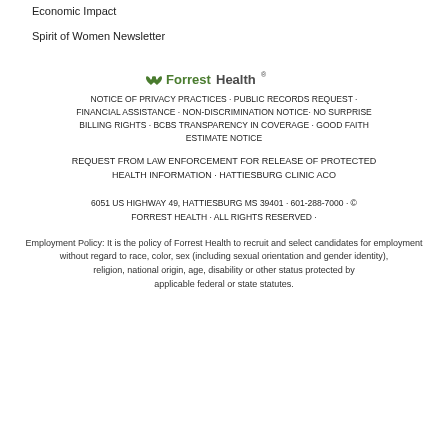Economic Impact
Spirit of Women Newsletter
[Figure (logo): Forrest Health logo with green leaf icon and bold/regular logotype]
NOTICE OF PRIVACY PRACTICES · PUBLIC RECORDS REQUEST · FINANCIAL ASSISTANCE · NON-DISCRIMINATION NOTICE· NO SURPRISE BILLING RIGHTS · BCBS TRANSPARENCY IN COVERAGE · GOOD FAITH ESTIMATE NOTICE
REQUEST FROM LAW ENFORCEMENT FOR RELEASE OF PROTECTED HEALTH INFORMATION · HATTIESBURG CLINIC ACO
6051 US HIGHWAY 49, HATTIESBURG MS 39401 · 601-288-7000 · © FORREST HEALTH · ALL RIGHTS RESERVED ·
Employment Policy: It is the policy of Forrest Health to recruit and select candidates for employment without regard to race, color, sex (including sexual orientation and gender identity), religion, national origin, age, disability or other status protected by applicable federal or state statutes.